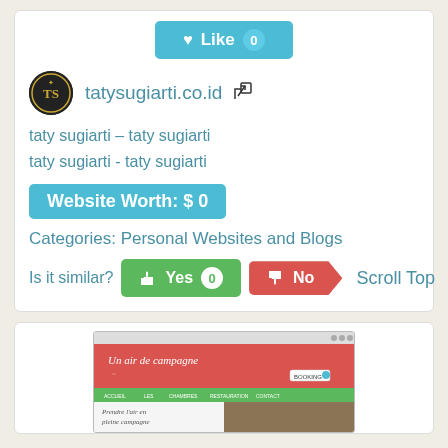[Figure (screenshot): Like button with count 0, teal/cyan colored]
[Figure (logo): tatysugiarti.co.id circular logo with gold emblem on dark background]
tatysugiarti.co.id
taty sugiarti – taty sugiarti
taty sugiarti - taty sugiarti
Website Worth: $ 0
Categories: Personal Websites and Blogs
Is it similar?
[Figure (screenshot): Yes button (green) with count 0, No button (red) with arrow shape, Scroll Top link]